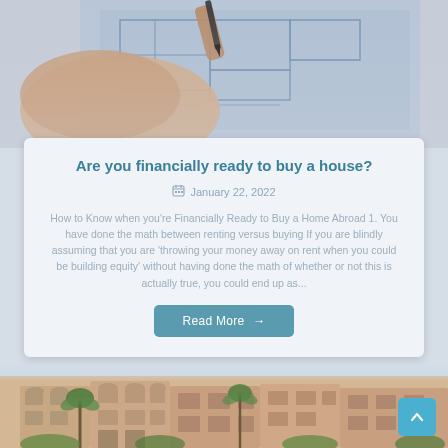[Figure (photo): A hand holding a pen drawing architectural blueprints/floor plans on paper]
Are you financially ready to buy a house?
January 22, 2022
How to Know when you're Financially Ready to Buy a Home Abroad 1. You have done the math between renting versus buying If you are blindly assuming that you are 'throwing your money away on rent when you could be building equity' without having done the math of whether or not this is actually true, you could end up as...
Read More →
[Figure (photo): A row of Mediterranean-style apartment buildings with palm trees and green landscaping]